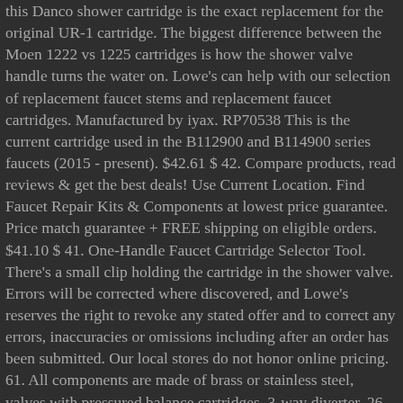this Danco shower cartridge is the exact replacement for the original UR-1 cartridge. The biggest difference between the Moen 1222 vs 1225 cartridges is how the shower valve handle turns the water on. Lowe's can help with our selection of replacement faucet stems and replacement faucet cartridges. Manufactured by iyax. RP70538 This is the current cartridge used in the B112900 and B114900 series faucets (2015 - present). $42.61 $ 42. Compare products, read reviews & get the best deals! Use Current Location. Find Faucet Repair Kits & Components at lowest price guarantee. Price match guarantee + FREE shipping on eligible orders. $41.10 $ 41. One-Handle Faucet Cartridge Selector Tool. There's a small clip holding the cartridge in the shower valve. Errors will be corrected where discovered, and Lowe's reserves the right to revoke any stated offer and to correct any errors, inaccuracies or omissions including after an order has been submitted. Our local stores do not honor online pricing. 61. All components are made of brass or stainless steel, valves with pressured balance cartridges, 3-way diverter, 26 in. This cartridge Puller will only remove Moen tub/ shower cartridges 1200,1222 or 1225 Posi-Temp Pressure Balanced Tub/Shower Cartridges. Price match guarantee + FREE shipping on eligible orders. Double-check the valve size and model to make